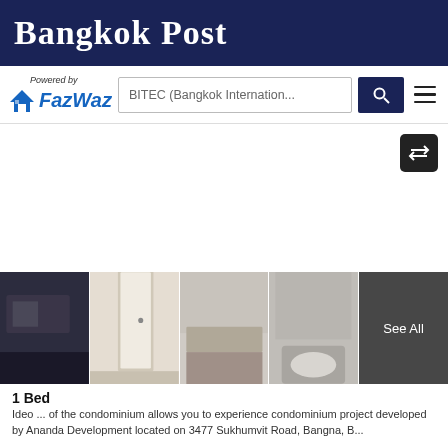Bangkok Post
[Figure (screenshot): FazWaz logo with house icon and 'Powered by' text, search bar with 'BITEC (Bangkok Internation...' placeholder, search button, hamburger menu]
[Figure (screenshot): White content area with swap/exchange button in top right corner (dark background with arrows icon)]
[Figure (photo): Four property interior photos in a horizontal strip: bedroom, doorway/hallway, kitchen area, bathroom; plus 'See All' dark overlay tile]
1 Bed
Ideo ... of the condominium allows you to experience condominium project developed by Ananda Development located on 3477 Sukhumvit Road, Bangna, B...
[Figure (screenshot): Bottom navigation bar with three items: Show Map (grid icon), Save Search (bell icon), Sort (list icon)]